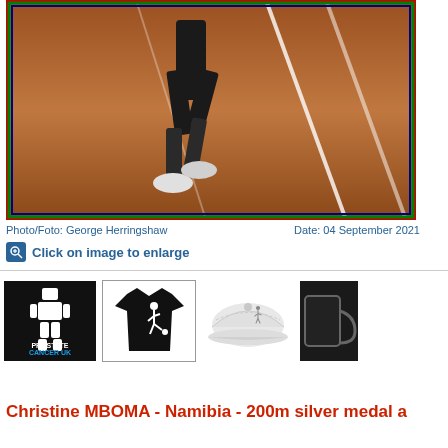[Figure (photo): Runner's legs on athletic track, close-up showing running shoes and track surface with lane lines. Photo has colored border (red outer, green, blue inner).]
Photo/Foto: George Herringshaw    Date: 04 September 2021
Click on image to enlarge
[Figure (logo): Prostate Cancer UK logo - robot figure made of text on black background]
[Figure (photo): Black t-shirt with white sports figure kicking a ball]
[Figure (photo): White baseball cap with small sports figure logo]
[Figure (photo): Partial view of a dark mug]
Christine MBOMA - Namibia - 200m silver medal a